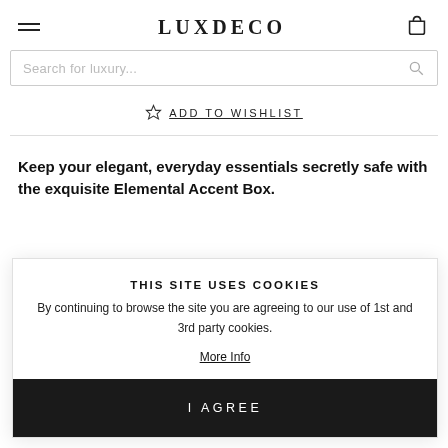LUXDECO
[Figure (screenshot): Search bar with placeholder text 'Search for luxury...' and a search icon on the right]
ADD TO WISHLIST
Keep your elegant, everyday essentials secretly safe with the exquisite Elemental Accent Box.
THIS SITE USES COOKIES
By continuing to browse the site you are agreeing to our use of 1st and 3rd party cookies.
More Info
I AGREE
for rings, earrings and other precious pieces. This